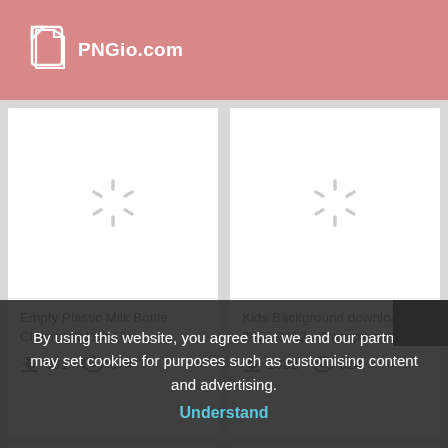[Figure (logo): PNGio.com logo with file icon on pink/rose header background]
[Figure (illustration): Loading spinner icon placeholder for Empty Plastic Milk Bottle Clipart]
Empty Plastic Milk Bottle Clipart (#3413119) -
991 downloads, 574 views
[Figure (illustration): Loading spinner icon placeholder for Kids Background download]
Kids Background download - 2050*3152 - Transparent
1032 downloads, 614 views
[Figure (illustration): Loading spinner icon placeholder bottom-left]
[Figure (illustration): Loading spinner icon placeholder bottom-right]
By using this website, you agree that we and our partners may set cookies for purposes such as customising content and advertising.
Understand